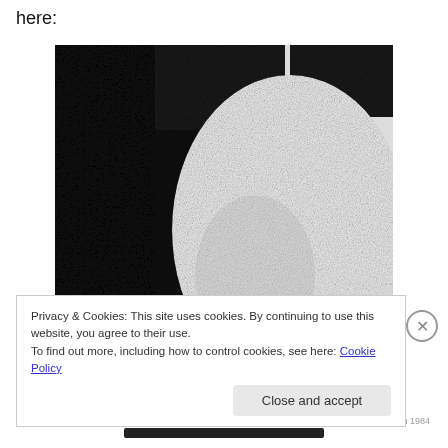here:
[Figure (photo): Black and white grainy/stippled abstract image showing curved organic forms against dark background, resembling a close-up body or sculptural form]
Privacy & Cookies: This site uses cookies. By continuing to use this website, you agree to their use.
To find out more, including how to control cookies, see here: Cookie Policy
Close and accept